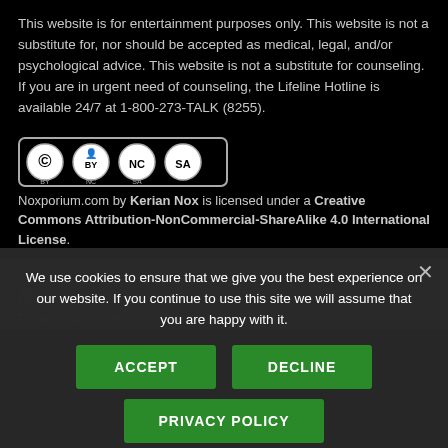This website is for entertainment purposes only. This website is not a substitute for, nor should be accepted as medical, legal, and/or psychological advice. This website is not a substitute for counseling. If you are in urgent need of counseling, the Lifeline Hotline is available 24/7 at 1-800-273-TALK (8255).
[Figure (logo): Creative Commons BY-NC-SA license badge with four circular icons]
Noxporium.com by Kerian Nox is licensed under a Creative Commons Attribution-NonCommercial-ShareAlike 4.0 International License.
Cer...
Black lives matter.
Privacy Policy  /  Proudly powered by WordPress
We use cookies to ensure that we give you the best experience on our website. If you continue to use this site we will assume that you are happy with it.